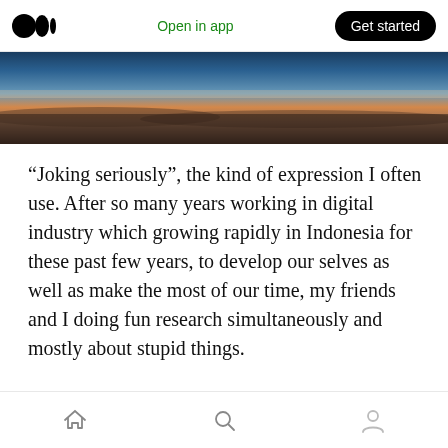Open in app | Get started
[Figure (photo): Aerial panorama of sky and clouds at dusk or dawn with gradient from blue to orange-red near horizon]
“Joking seriously”, the kind of expression I often use. After so many years working in digital industry which growing rapidly in Indonesia for these past few years, to develop our selves as well as make the most of our time, my friends and I doing fun research simultaneously and mostly about stupid things.
There was magic jar, which will twitting automatically after the rice has cooked and
Home | Search | Profile